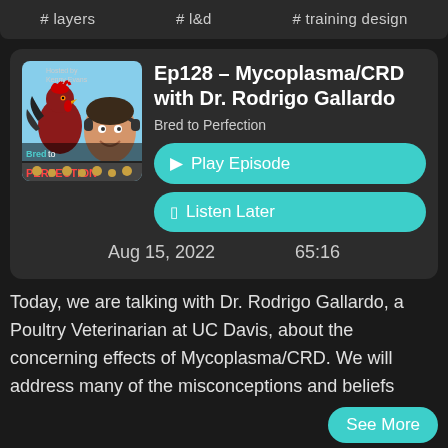# layers  # l&d  # training design
Ep128 – Mycoplasma/CRD with Dr. Rodrigo Gallardo
Bred to Perfection
Play Episode
Listen Later
Aug 15, 2022   65:16
Today, we are talking with Dr. Rodrigo Gallardo, a Poultry Veterinarian at UC Davis, about the concerning effects of Mycoplasma/CRD. We will address many of the misconceptions and beliefs
See More